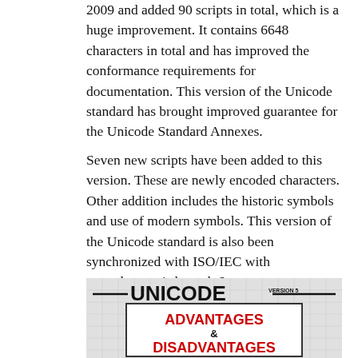2009 and added 90 scripts in total, which is a huge improvement. It contains 6648 characters in total and has improved the conformance requirements for documentation. This version of the Unicode standard has brought improved guarantee for the Unicode Standard Annexes.
Seven new scripts have been added to this version. These are newly encoded characters. Other addition includes the historic symbols and use of modern symbols. This version of the Unicode standard is also been synchronized with ISO/IEC with amendments 1 through 6.
[Figure (infographic): Infographic with grid background showing 'UNICODE VERSION 5' in large bold black text and 'ADVANTAGES & DISADVANTAGES' in large bold red text inside a bordered box.]